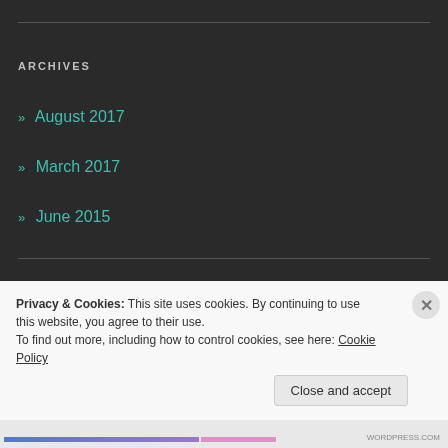ARCHIVES
» August 2017
» March 2017
» June 2015
CATEGORIES
» Uncategorized
Privacy & Cookies: This site uses cookies. By continuing to use this website, you agree to their use.
To find out more, including how to control cookies, see here: Cookie Policy
Close and accept